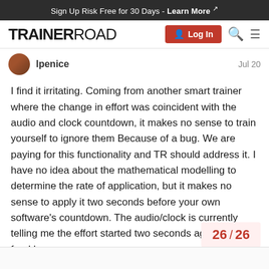Sign Up Risk Free for 30 Days - Learn More ↗
[Figure (logo): TrainerRoad logo with Log In button, search icon, and hamburger menu icon]
lpenice   Jul 20
I find it irritating. Coming from another smart trainer where the change in effort was coincident with the audio and clock countdown, it makes no sense to train yourself to ignore them Because of a bug. We are paying for this functionality and TR should address it. I have no idea about the mathematical modelling to determine the rate of application, but it makes no sense to apply it two seconds before your own software's countdown. The audio/clock is currently telling me the effort started two seconds ago, shoddy frankly.
26 / 26